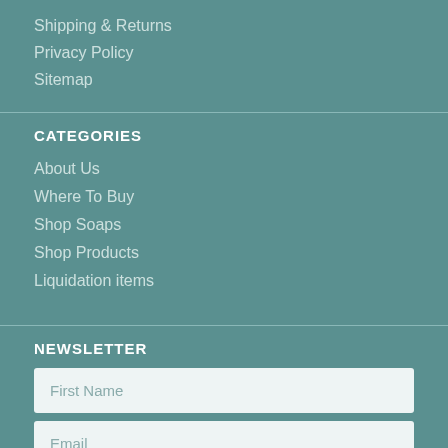Shipping & Returns
Privacy Policy
Sitemap
CATEGORIES
About Us
Where To Buy
Shop Soaps
Shop Products
Liquidation items
NEWSLETTER
First Name
Email